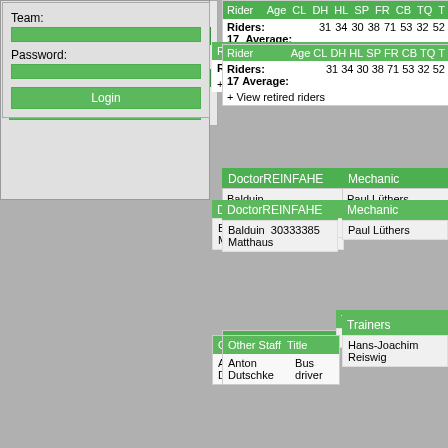Team:
Password:
Login
| Rider | Age | CL | DH | HL | SP | FR | CB | TQ | T |
| --- | --- | --- | --- | --- | --- | --- | --- | --- | --- |
| Riders: 17 | Average: | 31 | 34 | 30 | 38 | 71 | 53 | 32 | 52 |
+ View retired riders
DoctorREINFAHE
Balduin Matthaus  30333385
Mechanic
Paul Lüthers
Trainers
Hans-Joachim Reiswig
Other Staff
| Other Staff | Title |
| --- | --- |
| Anton Dutschke | Bus driver |
Equipment
BIKE 1
BIKE 2
OCM O9
Äme
Sponsors
Jegou Robotics
Hog Bay Financial Solutions
Manager Info
Manager: Ulle
Nationality: Germany
Age: N/A
City: N/A
Group Set: